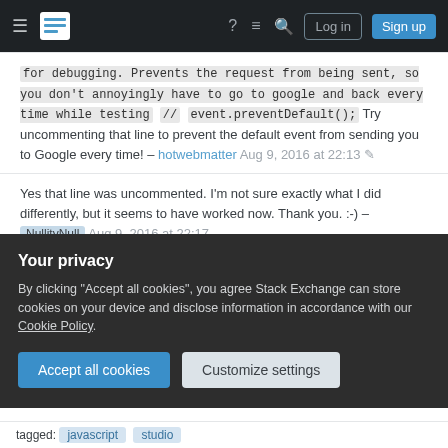Stack Exchange navigation bar with hamburger menu, logo, help, chat, search icons, Log in and Sign up buttons
for debugging. Prevents the request from being sent, so you don't annoyingly have to go to google and back every time while testing // event.preventDefault(); Try uncommenting that line to prevent the default event from sending you to Google every time! – hotwebmatter Aug 9, 2016 at 22:13
Yes that line was uncommented. I'm not sure exactly what I did differently, but it seems to have worked now. Thank you. :-) – NullityNull Aug 9, 2016 at 22:17
Awesome. Glad I could help! – hotwebmatter Aug 9,
Your privacy
By clicking "Accept all cookies", you agree Stack Exchange can store cookies on your device and disclose information in accordance with our Cookie Policy.
Accept all cookies
Customize settings
tagged: javascript studio